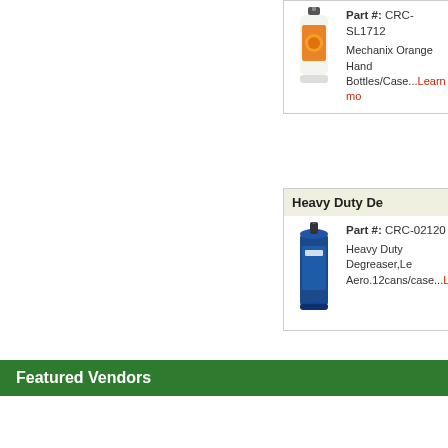[Figure (photo): Orange hand cleaner bottle product image]
Part #: CRC-SL1712
Mechanix Orange Hand Cleaner, Bottles/Case...Learn more
Heavy Duty De
[Figure (photo): Blue aerosol can product image - Heavy Duty Degreaser]
Part #: CRC-02120
Heavy Duty Degreaser,Le Aero.12cans/case...Learn more
Next »
Featured Vendors